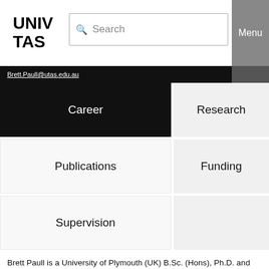UNIV TAS
Search
Menu
Brett.Paull@utas.edu.au
Career
Research
Publications
Funding
Supervision
Brett Paull is a University of Plymouth (UK) B.Sc. (Hons), Ph.D. and D.Sc. g a Professor of Analytical Chemistry in the School of Natural Sciences, wi College of Sciences and Engineering at the University of Tasmania.
Biography
Professor Paull took up his first lectureship at the University of Tasman to 1997, before moving to Dublin City University (DCU), Ireland, as Lectur Senior Lecturer (2003-2006) and Associate Professor (2006-2011). In 2011 the University of Tasmania as a Professor of Analytical Chemistry und